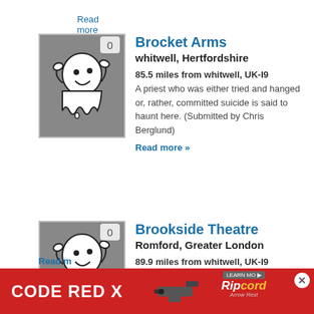Read more »
[Figure (illustration): Ghost cartoon illustration with badge showing 0]
Brocket Arms
whitwell, Hertfordshire
85.5 miles from whitwell, UK-I9
A priest who was either tried and hanged or, rather, committed suicide is said to haunt here. (Submitted by Chris Berglund)
Read more »
[Figure (illustration): Ghost cartoon illustration with badge showing 0]
Brookside Theatre
Romford, Greater London
89.9 miles from whitwell, UK-I9
The theatre itself was only opened in 2012, but the building has existed since the 1950's. Security footage of poltergeist activity has brought to light the possibility that this place is
Read m
[Figure (photo): Advertisement banner: CODE RED X with Ripcord Arrow Rest product]